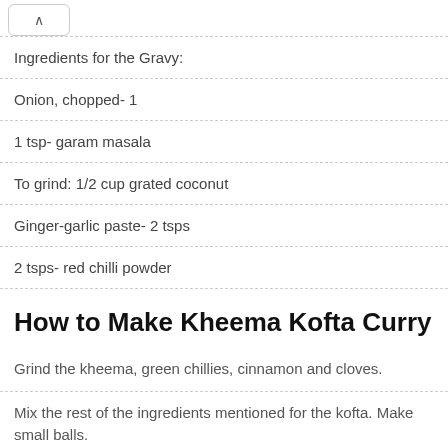Ingredients for the Gravy:
Onion, chopped- 1
1 tsp- garam masala
To grind: 1/2 cup grated coconut
Ginger-garlic paste- 2 tsps
2 tsps- red chilli powder
How to Make Kheema Kofta Curry
Grind the kheema, green chillies, cinnamon and cloves.
Mix the rest of the ingredients mentioned for the kofta. Make small balls.
Take a little water in a pan and put the kheema balls in it.